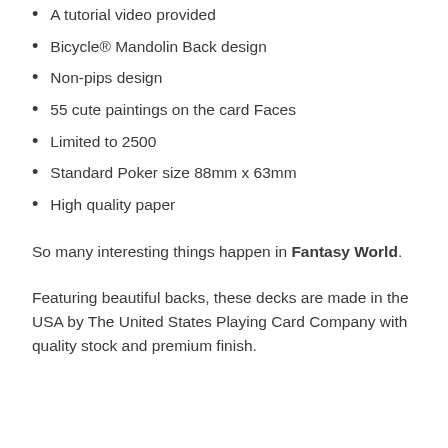A tutorial video provided
Bicycle® Mandolin Back design
Non-pips design
55 cute paintings on the card Faces
Limited to 2500
Standard Poker size 88mm x 63mm
High quality paper
So many interesting things happen in Fantasy World.
Featuring beautiful backs, these decks are made in the USA by The United States Playing Card Company with quality stock and premium finish.